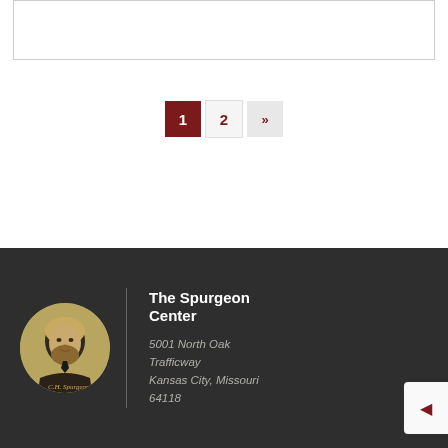[Figure (other): Empty bordered box at top of page, white background with light gray border]
1  2  »
[Figure (logo): Circular logo with golden/tan portrait illustration of Charles Spurgeon with signature below, on dark background]
The Spurgeon Center
5001 North Oak Trafficway Kansas City, Missouri 64118